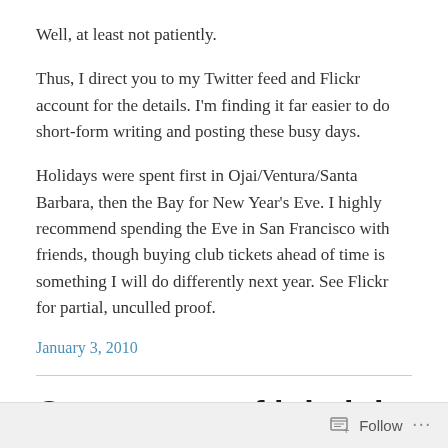Well, at least not patiently.
Thus, I direct you to my Twitter feed and Flickr account for the details. I'm finding it far easier to do short-form writing and posting these busy days.
Holidays were spent first in Ojai/Ventura/Santa Barbara, then the Bay for New Year's Eve. I highly recommend spending the Eve in San Francisco with friends, though buying club tickets ahead of time is something I will do differently next year. See Flickr for partial, unculled proof.
January 3, 2010
On account of it beinj me half